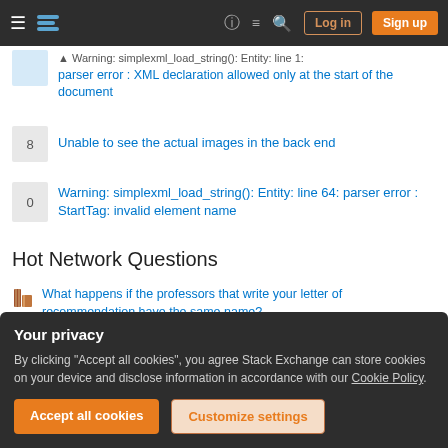Stack Exchange navigation bar with hamburger menu, logo, help, chat, search icons, Log in and Sign up buttons
Warning: simplexml_load_string(): Entity: line 1: parser error : XML declaration allowed only at the start of the document
8 — Unable to see the actual images in the back end
0 — Warning: simplexml_load_string(): Entity: line 64: parser error : StartTag: invalid element name
Hot Network Questions
What happens if the professors that write your letter of recommendation have the same name?
Trim_reason = DICTIONARY_SIZE on Clustered ColumnStore index
Your privacy
By clicking "Accept all cookies", you agree Stack Exchange can store cookies on your device and disclose information in accordance with our Cookie Policy.
Accept all cookies    Customize settings